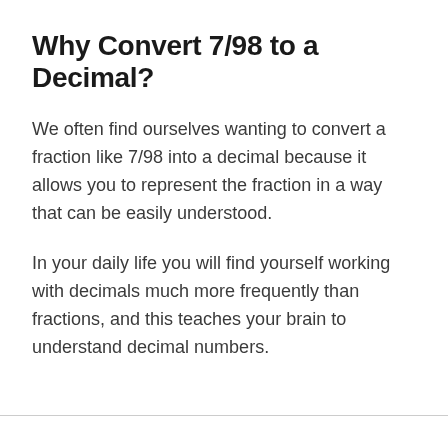Why Convert 7/98 to a Decimal?
We often find ourselves wanting to convert a fraction like 7/98 into a decimal because it allows you to represent the fraction in a way that can be easily understood.
In your daily life you will find yourself working with decimals much more frequently than fractions, and this teaches your brain to understand decimal numbers.